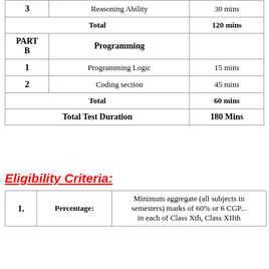|  | Section | Duration |
| --- | --- | --- |
| 3 | Reasoning Ability | 30 mins |
|  | Total | 120 mins |
| PART B | Programming |  |
| 1 | Programming Logic | 15 mins |
| 2 | Coding section | 45 mins |
|  | Total | 60 mins |
|  | Total Test Duration | 180 Mins |
Eligibility Criteria:
| No. | Category | Details |
| --- | --- | --- |
| 1. | Percentage: | Minimum aggregate (all subjects in semesters) marks of 60% or 6 CGPA in each of Class Xth, Class XIIth |